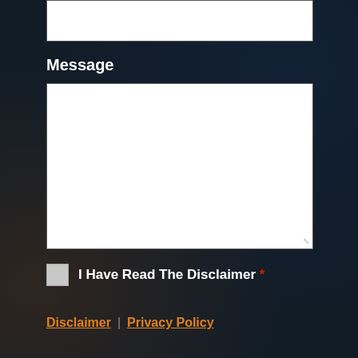Message
[Figure (screenshot): Empty white text input box at top of page]
[Figure (screenshot): Large empty white textarea for message input with resize handle]
I Have Read The Disclaimer *
Disclaimer | Privacy Policy